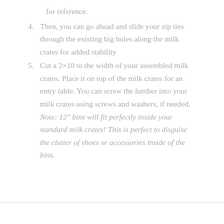for reference.
4. Then, you can go ahead and slide your zip ties through the existing big holes along the milk crates for added stability
5. Cut a 2×10 to the width of your assembled milk crates. Place it on top of the milk crates for an entry table. You can screw the lumber into your milk crates using screws and washers, if needed. Note: 12" bins will fit perfectly inside your standard milk crates! This is perfect to disguise the clutter of shoes or accessories inside of the bins.